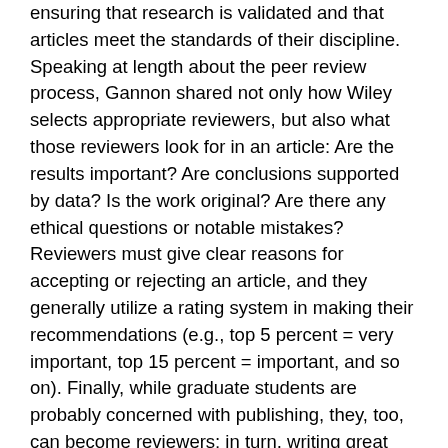ensuring that research is validated and that articles meet the standards of their discipline. Speaking at length about the peer review process, Gannon shared not only how Wiley selects appropriate reviewers, but also what those reviewers look for in an article: Are the results important? Are conclusions supported by data? Is the work original? Are there any ethical questions or notable mistakes? Reviewers must give clear reasons for accepting or rejecting an article, and they generally utilize a rating system in making their recommendations (e.g., top 5 percent = very important, top 15 percent = important, and so on). Finally, while graduate students are probably concerned with publishing, they, too, can become reviewers; in turn, writing great reviewer reports builds relationships with editors and creates a positive history of correspondence, thus facilitating the process of getting one's own work published in that journal down the line.
Panel 2: Publishing in the Humanities and Social Sciences